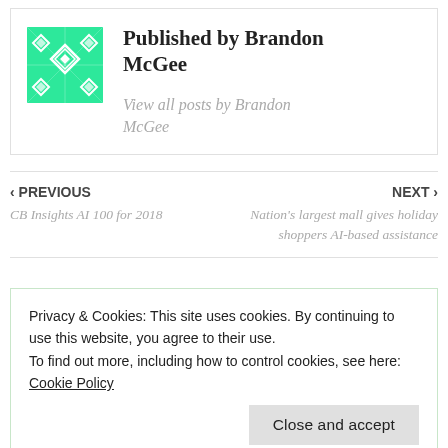[Figure (illustration): Green geometric pattern avatar/logo for Brandon McGee]
Published by Brandon McGee
View all posts by Brandon McGee
‹ PREVIOUS
CB Insights AI 100 for 2018
NEXT ›
Nation's largest mall gives holiday shoppers AI-based assistance
Privacy & Cookies: This site uses cookies. By continuing to use this website, you agree to their use.
To find out more, including how to control cookies, see here: Cookie Policy
Close and accept
develop its AI product comparison tools, gi